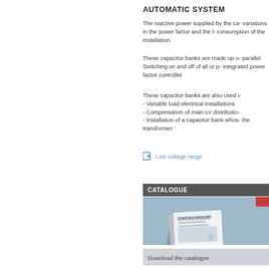AUTOMATIC SYSTEM
The reactive power supplied by the ca- variations in the power factor and the l- consumption of the installation.
These capacitor banks are made up o- parallel. Switching on and off of all or p- integrated power factor controller
These capacitor banks are also used i- - Variable load electrical installations - Compensation of main LV distributio- - Installation of a capacitor bank whos- the transformer.
Low voltage range
CATALOGUE
[Figure (photo): Photo of a catalogue booklet shown at an angle on a blue-grey background]
Download the catalogue